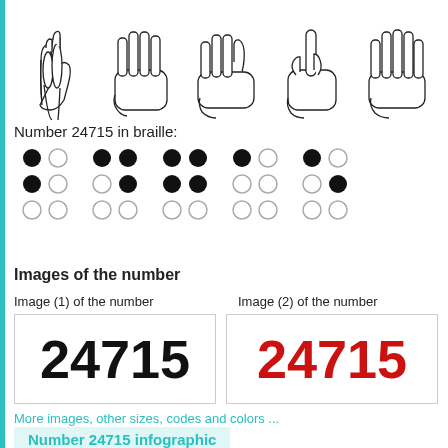[Figure (illustration): Five hand illustrations showing finger counting for digits 2, 4, 7, 1, 5 of the number 24715]
Number 24715 in braille:
[Figure (illustration): Braille representation of the number 24715 using filled and empty circles in a dot grid pattern]
Images of the number
Image (1) of the number
Image (2) of the number
[Figure (illustration): Image of the number 24715 in black on white background]
[Figure (illustration): Image of the number 24715 in red on white background]
More images, other sizes, codes and colors ...
Number 24715 infographic